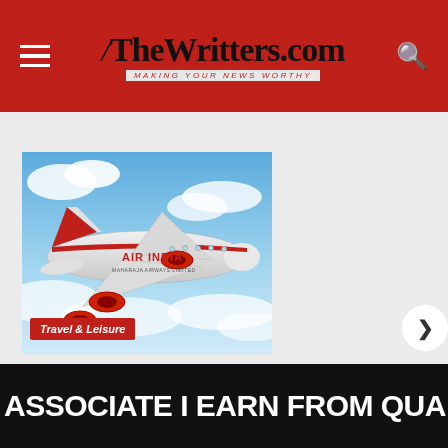TheWritters.com
[Figure (photo): Air India airplane in flight against blue sky with clouds, showing red and white livery with 'AIR INDIA' text on fuselage]
Travel & Leisure
ASSOCIATE I EARN FROM QUALIFYING